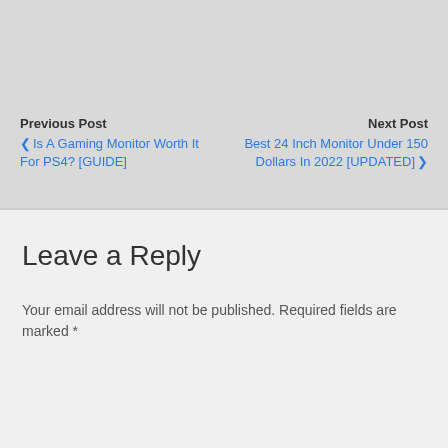Previous Post
‹ Is A Gaming Monitor Worth It For PS4? [GUIDE]
Next Post
Best 24 Inch Monitor Under 150 Dollars In 2022 [UPDATED] ›
Leave a Reply
Your email address will not be published. Required fields are marked *